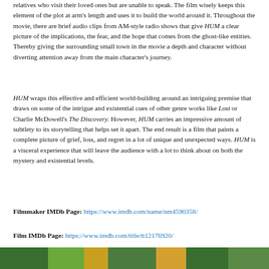relatives who visit their loved ones but are unable to speak. The film wisely keeps this element of the plot at arm's length and uses it to build the world around it. Throughout the movie, there are brief audio clips from AM-style radio shows that give HUM a clear picture of the implications, the fear, and the hope that comes from the ghost-like entities. Thereby giving the surrounding small town in the movie a depth and character without diverting attention away from the main character's journey.
HUM wraps this effective and efficient world-building around an intriguing premise that draws on some of the intrigue and existential cues of other genre works like Lost or Charlie McDowell's The Discovery. However, HUM carries an impressive amount of subtlety to its storytelling that helps set it apart. The end result is a film that paints a complete picture of grief, loss, and regret in a lot of unique and unexpected ways. HUM is a visceral experience that will leave the audience with a lot to think about on both the mystery and existential levels.
Filmmaker IMDb Page: https://www.imdb.com/name/nm4590358/
Film IMDb Page: https://www.imdb.com/title/tt12176920/
[Figure (photo): Bottom strip of a colorful image, appears to be a film still with green and yellow/orange tones]